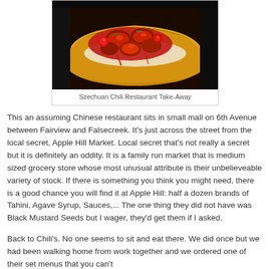[Figure (photo): Photo of Szechuan Chili Restaurant take-away food in a yellow/gold takeout container, showing red sauced chicken or meat dish with vegetables]
Szechuan Chili Restaurant Take-Away
This an assuming Chinese restaurant sits in small mall on 6th Avenue between Fairview and Falsecreek.  It's just across the street from the local secret, Apple Hill Market.  Local secret that's not really a secret but it is definitely an oddity.  It is a family run market that is medium sized grocery store whose most unusual attribute is their unbelieveable variety of stock.  If there is something you think you might need, there is a good chance you will find it at Apple Hill: half a dozen brands of Tahini, Agave Syrup, Sauces,...  The one thing they did not have was Black Mustard Seeds but I wager, they'd get them if I asked.
Back to Chili's.  No one seems to sit and eat there.  We did once but we had been walking home from work together and we ordered one of their set menus that you can't